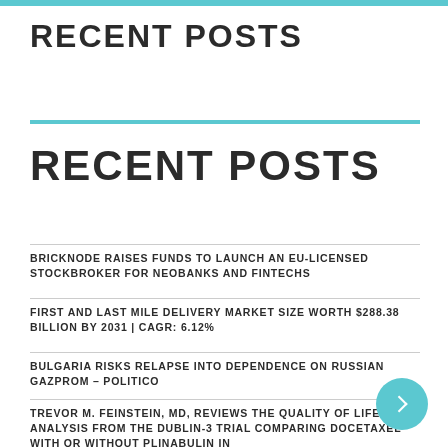RECENT POSTS
RECENT POSTS
BRICKNODE RAISES FUNDS TO LAUNCH AN EU-LICENSED STOCKBROKER FOR NEOBANKS AND FINTECHS
FIRST AND LAST MILE DELIVERY MARKET SIZE WORTH $288.38 BILLION BY 2031 | CAGR: 6.12%
BULGARIA RISKS RELAPSE INTO DEPENDENCE ON RUSSIAN GAZPROM – POLITICO
TREVOR M. FEINSTEIN, MD, REVIEWS THE QUALITY OF LIFE ANALYSIS FROM THE DUBLIN-3 TRIAL COMPARING DOCETAXEL WITH OR WITHOUT PLINABULIN IN